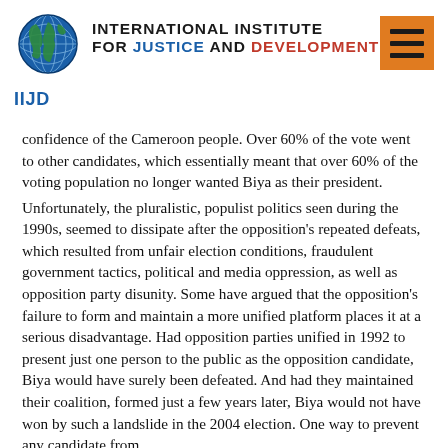[Figure (logo): IIJD globe logo with 'IIJD' text below, and organization name 'INTERNATIONAL INSTITUTE FOR JUSTICE AND DEVELOPMENT' to the right, with an orange menu button on the far right]
confidence of the Cameroon people. Over 60% of the vote went to other candidates, which essentially meant that over 60% of the voting population no longer wanted Biya as their president.
Unfortunately, the pluralistic, populist politics seen during the 1990s, seemed to dissipate after the opposition's repeated defeats, which resulted from unfair election conditions, fraudulent government tactics, political and media oppression, as well as opposition party disunity. Some have argued that the opposition's failure to form and maintain a more unified platform places it at a serious disadvantage. Had opposition parties unified in 1992 to present just one person to the public as the opposition candidate, Biya would have surely been defeated. And had they maintained their coalition, formed just a few years later, Biya would not have won by such a landslide in the 2004 election. One way to prevent any candidate from